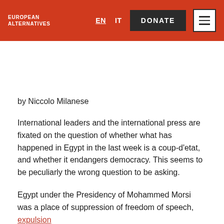EUROPEAN ALTERNATIVES  EN  IT  DONATE
by Niccolo Milanese
International leaders and the international press are fixated on the question of whether what has happened in Egypt in the last week is a coup-d'etat, and whether it endangers democracy. This seems to be peculiarly the wrong question to be asking.
Egypt under the Presidency of Mohammed Morsi was a place of suppression of freedom of speech, expulsion